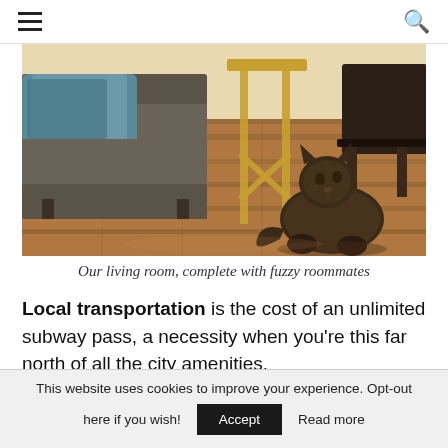≡  🔍
[Figure (photo): A tabby cat on a hardwood floor, looking up at something off-camera, with a sofa and gold-legged side table in the background.]
Our living room, complete with fuzzy roommates
Local transportation is the cost of an unlimited subway pass, a necessity when you're this far north of all the city amenities.
This website uses cookies to improve your experience. Opt-out here if you wish!  Accept  Read more